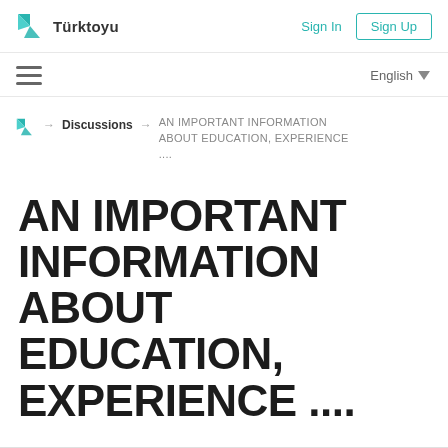Türktoyu — Sign In | Sign Up
☰  English ▼
🏠 → Discussions → AN IMPORTANT INFORMATION ABOUT EDUCATION, EXPERIENCE ....
AN IMPORTANT INFORMATION ABOUT EDUCATION, EXPERIENCE ....